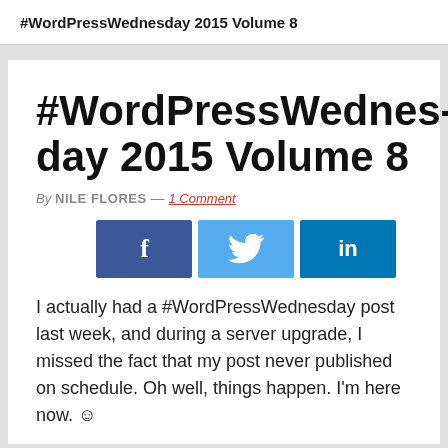#WordPressWednesday 2015 Volume 8
#WordPressWednesday 2015 Volume 8
By NILE FLORES — 1 Comment
[Figure (infographic): Social share buttons: Facebook (dark blue, f), Twitter (light blue, bird icon), LinkedIn (teal blue, in)]
I actually had a #WordPressWednesday post last week, and during a server upgrade, I missed the fact that my post never published on schedule. Oh well, things happen. I'm here now. ☺